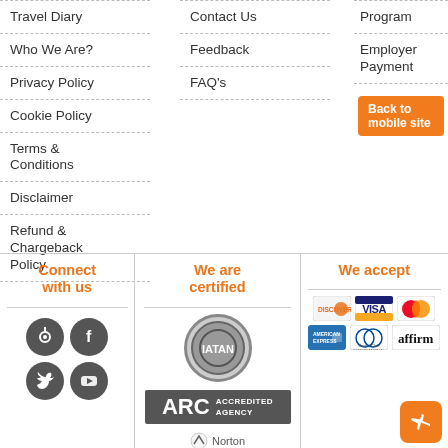Travel Diary
Who We Are?
Privacy Policy
Cookie Policy
Terms & Conditions
Disclaimer
Refund & Chargeback Policy
Contact Us
Feedback
FAQ's
Program
Employer Payment
Back to mobile site
Connect with us
We are certified
We accept
[Figure (logo): IATAN circular logo]
[Figure (logo): ARC Accredited Agency logo]
[Figure (logo): Norton logo partial]
[Figure (logo): Social media icons: signal, facebook, twitter, youtube]
[Figure (logo): Payment logos: Discover, Visa, MasterCard, American Express, Diners Club, Affirm, airplane button]